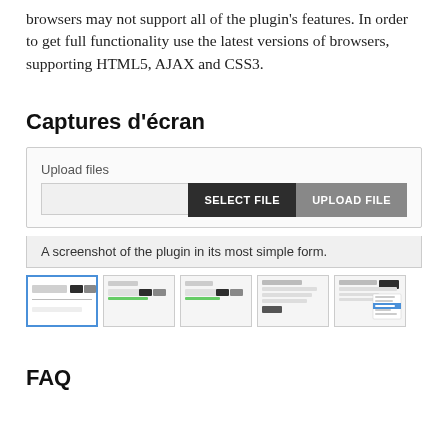browsers may not support all of the plugin's features. In order to get full functionality use the latest versions of browsers, supporting HTML5, AJAX and CSS3.
Captures d'écran
[Figure (screenshot): Upload files UI widget showing an input field, SELECT FILE button (dark), and UPLOAD FILE button (gray), with caption 'A screenshot of the plugin in its most simple form.']
[Figure (screenshot): Row of 5 thumbnail screenshots of the plugin in various states]
FAQ